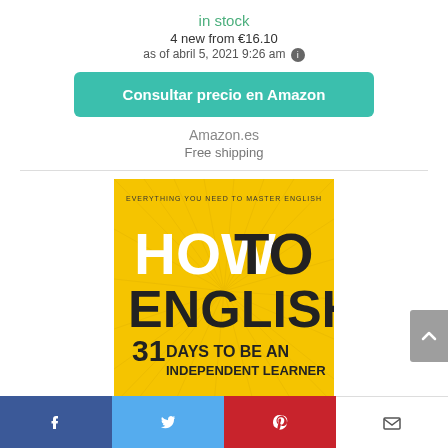in stock
4 new from €16.10
as of abril 5, 2021 9:26 am ℹ
Consultar precio en Amazon
Amazon.es
Free shipping
[Figure (photo): Book cover: 'How To English – 31 Days to Be an Independent Learner', yellow background with bold black and white text]
[Figure (infographic): Social media sharing bar with Facebook, Twitter, Pinterest, and Email icons]